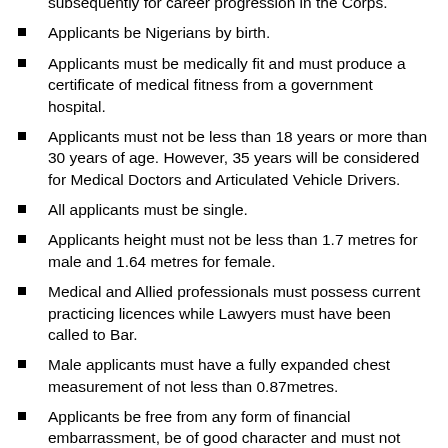subsequently for career progression in the Corps.
Applicants be Nigerians by birth.
Applicants must be medically fit and must produce a certificate of medical fitness from a government hospital.
Applicants must not be less than 18 years or more than 30 years of age. However, 35 years will be considered for Medical Doctors and Articulated Vehicle Drivers.
All applicants must be single.
Applicants height must not be less than 1.7 metres for male and 1.64 metres for female.
Medical and Allied professionals must possess current practicing licences while Lawyers must have been called to Bar.
Male applicants must have a fully expanded chest measurement of not less than 0.87metres.
Applicants be free from any form of financial embarrassment, be of good character and must not have been convicted of any criminal offence.
Applicants must not have tattoo on any part of their body